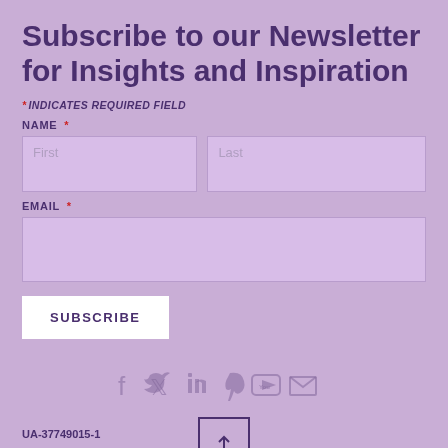Subscribe to our Newsletter for Insights and Inspiration
* INDICATES REQUIRED FIELD
NAME *
First
Last
EMAIL *
SUBSCRIBE
[Figure (infographic): Social media icons row: Facebook, Twitter, LinkedIn, Pinterest, YouTube, Email]
[Figure (other): Back to top button with upward arrow]
UA-37749015-1